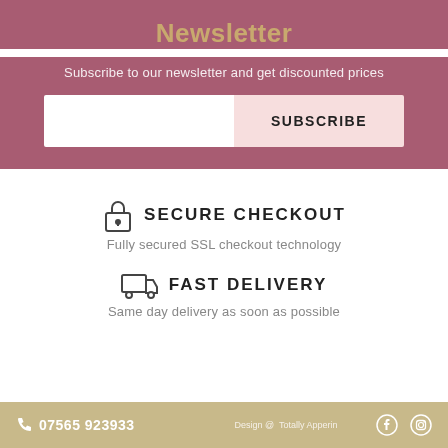Newsletter
Subscribe to our newsletter and get discounted prices
SUBSCRIBE
SECURE CHECKOUT
Fully secured SSL checkout technology
FAST DELIVERY
Same day delivery as soon as possible
07565 923933   Design @  Totally Apperin